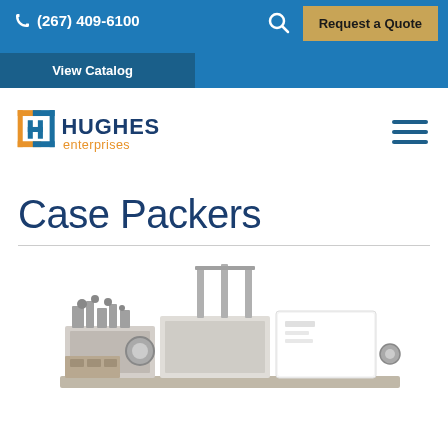(267) 409-6100
Request a Quote
View Catalog
[Figure (logo): Hughes Enterprises logo with stylized HE icon in blue and orange, with 'HUGHES enterprises' text]
Case Packers
[Figure (photo): Industrial case packer machine, metallic, complex mechanical equipment on white background]